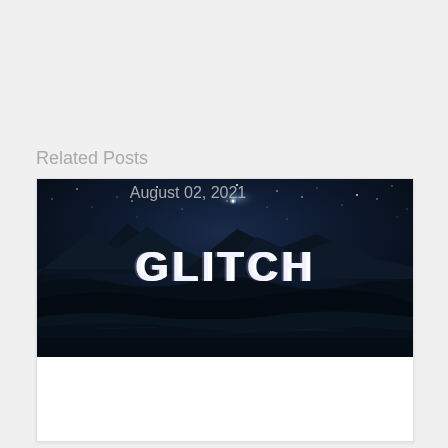Related Posts
[Figure (photo): Dark cinematic landscape with mountains, starry night sky, and the word GLITCH in bold white text overlaid on the scene, reflected in water below.]
August 02, 2021